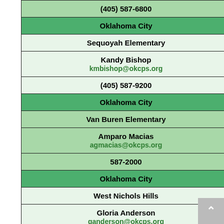| (405) 587-6800 |
| Oklahoma City |
| Sequoyah Elementary |
| Kandy Bishop
kmbishop@okcps.org |
| (405) 587-9200 |
| Oklahoma City |
| Van Buren Elementary |
| Amparo Macias
agmacias@okcps.org |
| 587-2000 |
| Oklahoma City |
| West Nichols Hills |
| Gloria Anderson
ganderson@okcps.org |